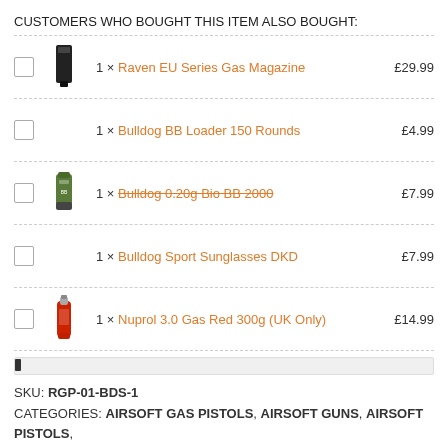CUSTOMERS WHO BOUGHT THIS ITEM ALSO BOUGHT:
1 × Raven EU Series Gas Magazine £29.99
1 × Bulldog BB Loader 150 Rounds £4.99
1 × Bulldog 0.20g Bio BB 2000 £7.99
1 × Bulldog Sport Sunglasses DKD £7.99
1 × Nuprol 3.0 Gas Red 300g (UK Only) £14.99
SKU: RGP-01-BDS-1
CATEGORIES: AIRSOFT GAS PISTOLS, AIRSOFT GUNS, AIRSOFT PISTOLS, PRO AIRSOFT GAS PISTOLS, PRO AIRSOFT SHOP, RAVEN AIRSOFT PISTOLS
BRANDS: NUPROL, RAVEN